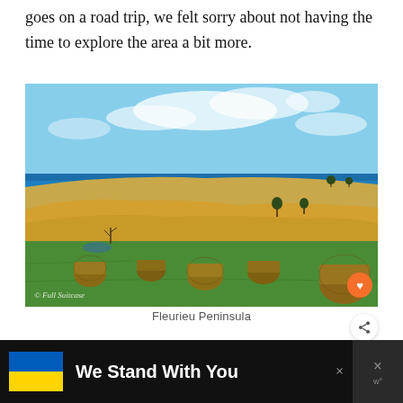goes on a road trip, we felt sorry about not having the time to explore the area a bit more.
[Figure (photo): Landscape photo of Fleurieu Peninsula showing a green field with round hay bales in the foreground, golden rolling hills in the middle, and a bright blue ocean in the background under a partly cloudy sky. A watermark reads '© Full Suitcase'.]
Fleurieu Peninsula
[Figure (infographic): Advertisement banner with black background, Ukrainian flag (blue and yellow), bold white text 'We Stand With You', a close button X, and a right panel with dark background showing an X mark and 'w°' text.]